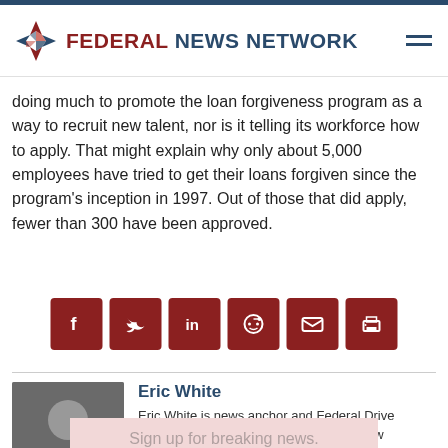FEDERAL NEWS NETWORK
doing much to promote the loan forgiveness program as a way to recruit new talent, nor is it telling its workforce how to apply. That might explain why only about 5,000 employees have tried to get their loans forgiven since the program's inception in 1997. Out of those that did apply, fewer than 300 have been approved.
[Figure (other): Social share buttons: Facebook, Twitter, LinkedIn, Reddit, Email, Print]
Eric White
Eric White is news anchor and Federal Drive producer at Federal News Network. Follow @FEDERALNEWSCAST
Sign up for breaking news.